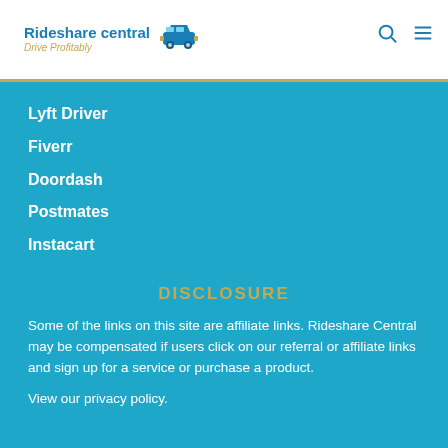Rideshare central Drive Profitably
Lyft Driver
Fiverr
Doordash
Postmates
Instacart
DISCLOSURE
Some of the links on this site are affiliate links. Rideshare Central may be compensated if users click on our referral or affiliate links and sign up for a service or purchase a product.
View our privacy policy.